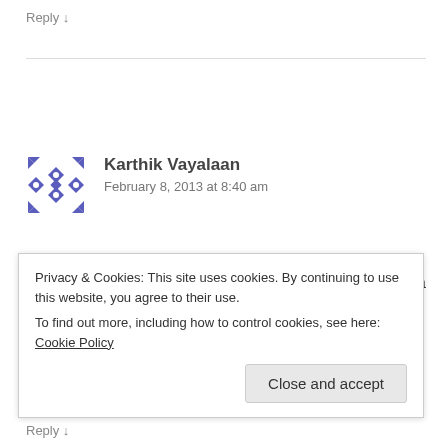Reply ↓
[Figure (illustration): Blue geometric avatar icon for user Karthik Vayalaan — square tile pattern in blue and white]
Karthik Vayalaan
February 8, 2013 at 8:40 am
“Dear Kamal sir, you’re a great actor. But you’re not a good director.” If you can qualitatively prove this comment, I would
Privacy & Cookies: This site uses cookies. By continuing to use this website, you agree to their use.
To find out more, including how to control cookies, see here: Cookie Policy
Close and accept
Reply ↓